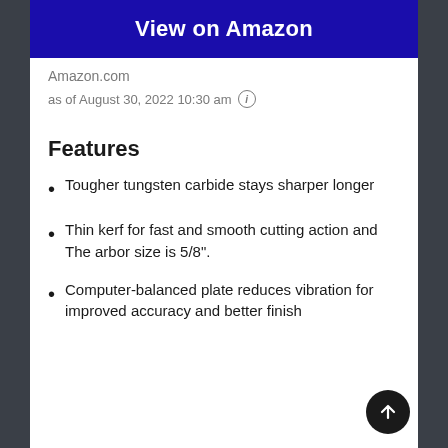View on Amazon
Amazon.com
as of August 30, 2022 10:30 am ⓘ
Features
Tougher tungsten carbide stays sharper longer
Thin kerf for fast and smooth cutting action and The arbor size is 5/8".
Computer-balanced plate reduces vibration for improved accuracy and better finish